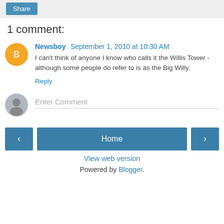Share
1 comment:
Newsboy September 1, 2010 at 10:30 AM
I can't think of anyone I know who calls it the Willis Tower - although some people do refer to is as the Big Willy.
Reply
Enter Comment
Home
View web version
Powered by Blogger.